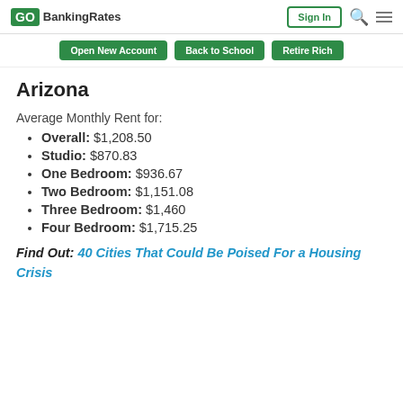GOBankingRates | Sign In
Open New Account | Back to School | Retire Rich
Arizona
Average Monthly Rent for:
Overall: $1,208.50
Studio: $870.83
One Bedroom: $936.67
Two Bedroom: $1,151.08
Three Bedroom: $1,460
Four Bedroom: $1,715.25
Find Out: 40 Cities That Could Be Poised For a Housing Crisis